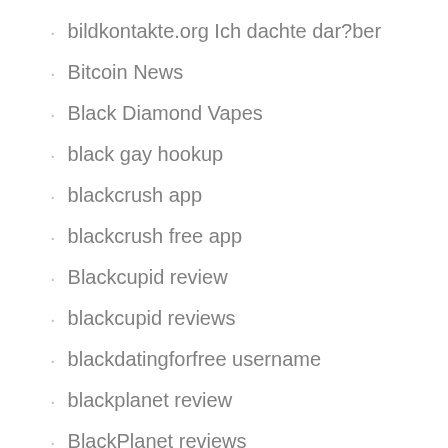bildkontakte.org Ich dachte dar?ber
Bitcoin News
Black Diamond Vapes
black gay hookup
blackcrush app
blackcrush free app
Blackcupid review
blackcupid reviews
blackdatingforfree username
blackplanet review
BlackPlanet reviews